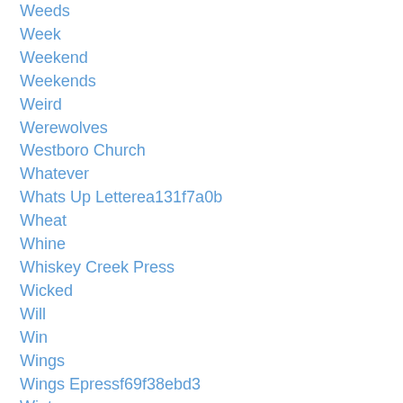Weeds
Week
Weekend
Weekends
Weird
Werewolves
Westboro Church
Whatever
Whats Up Letterea131f7a0b
Wheat
Whine
Whiskey Creek Press
Wicked
Will
Win
Wings
Wings Epressf69f38ebd3
Winter
Winterize
Wisdom
Wistv3f6c806d83